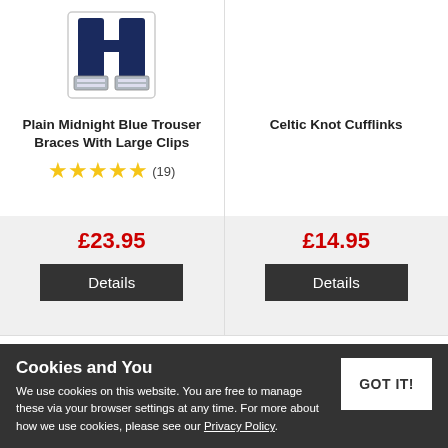[Figure (photo): Navy blue trouser braces with large metal clips, displayed in a box]
Plain Midnight Blue Trouser Braces With Large Clips
★★★★★ (19)
£23.95
Details
Celtic Knot Cufflinks
£14.95
Details
Cookies and You
We use cookies on this website. You are free to manage these via your browser settings at any time. For more about how we use cookies, please see our Privacy Policy.
GOT IT!